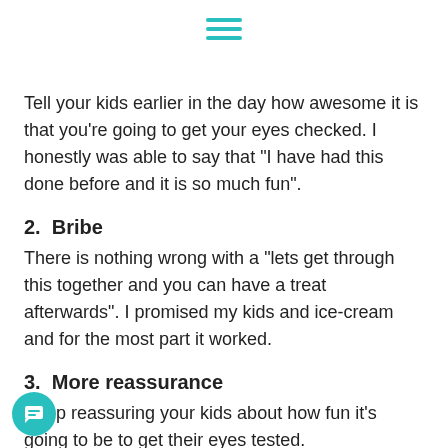[Figure (other): Hamburger menu icon with three teal horizontal lines]
Tell your kids earlier in the day how awesome it is that you’re going to get your eyes checked. I honestly was able to say that “I have had this done before and it is so much fun”.
2.  Bribe
There is nothing wrong with a “lets get through this together and you can have a treat afterwards”. I promised my kids and ice-cream and for the most part it worked.
3.  More reassurance
Keep reassuring your kids about how fun it’s going to be to get their eyes tested.